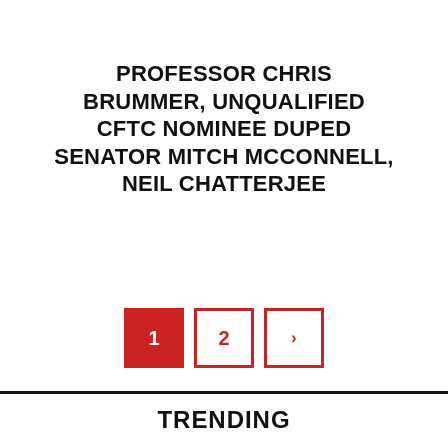PROFESSOR CHRIS BRUMMER, UNQUALIFIED CFTC NOMINEE DUPED SENATOR MITCH MCCONNELL, NEIL CHATTERJEE
[Figure (other): Pagination controls: three square buttons labeled 1 (active, red fill), 2, and an arrow/next button, with red borders]
TRENDING